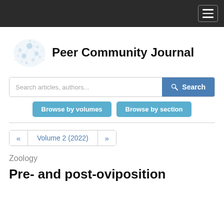Peer Community Journal — navigation bar
[Figure (logo): Peer Community Journal logo: network graph illustration with connected nodes]
Peer Community Journal
Search articles, authors...
Search
Browse by volumes
Browse by section
« Volume 2 (2022) »
Zoology
Pre- and post-oviposition